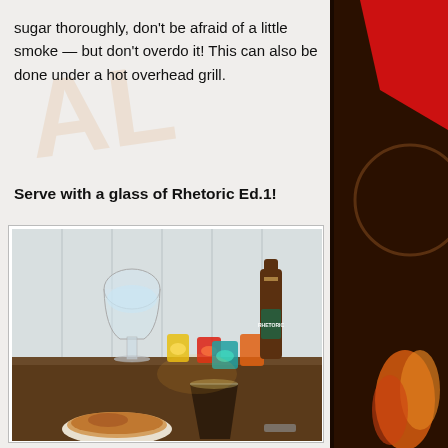sugar thoroughly, don't be afraid of a little smoke — but don't overdo it!  This can also be done under a hot overhead grill.
Serve with a glass of Rhetoric Ed.1!
[Figure (photo): Photo of a dark wooden table with a wine glass filled with water, colorful candle holders (yellow, red, teal, orange), a dark beer bottle labeled RHETORIC, a glass of dark beer, and a white ceramic dish with crème brûlée.]